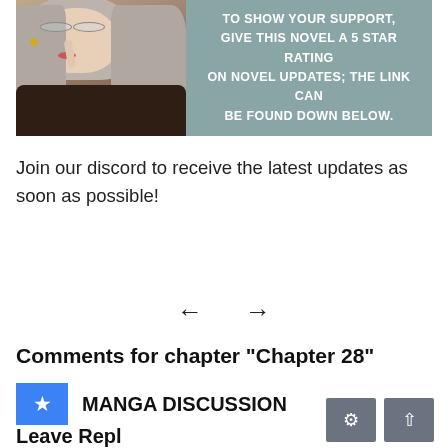[Figure (illustration): Manga-style banner image showing an anime girl with long silver/grey hair, wearing glasses and a dark top, with her finger near her lips. Text on the right side reads: TO SHOW YOUR SUPPORT, GIVE THIS NOVEL A 5 STAR RATING ON NOVEL UPDATES; THE LINK CAN BE FOUND DOWN BELOW.]
Join our discord to receive the latest updates as soon as possible!
← →
Comments for chapter "Chapter 28"
MANGA DISCUSSION